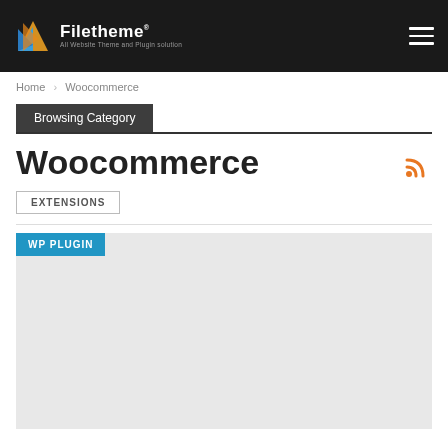Filetheme — All Website Theme and Plugin solution
Home > Woocommerce
Browsing Category
Woocommerce
EXTENSIONS
[Figure (screenshot): WP PLUGIN card placeholder with light grey background]